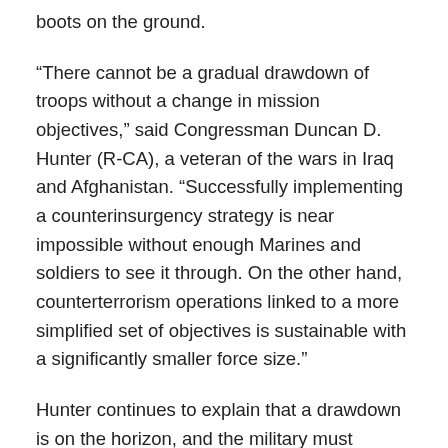boots on the ground.
“There cannot be a gradual drawdown of troops without a change in mission objectives,” said Congressman Duncan D. Hunter (R-CA), a veteran of the wars in Iraq and Afghanistan. “Successfully implementing a counterinsurgency strategy is near impossible without enough Marines and soldiers to see it through. On the other hand, counterterrorism operations linked to a more simplified set of objectives is sustainable with a significantly smaller force size.”
Hunter continues to explain that a drawdown is on the horizon, and the military must narrow its objectives in Afghanistan. “These objectives should consist of making sure the enemy cannot get back on its feet, strengthening the Afghan military and stabilizing Pakistan. We can do all